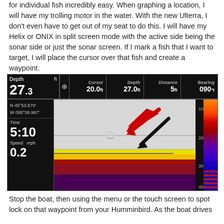for individual fish incredibly easy.  When graphing a location, I will have my trolling motor in the water.  With the new Ulterra, I don't even have to get out of my seat to do this.  I will have my Helix or ONIX in split screen mode with the active side being the sonar side or just the sonar screen.  If I mark a fish that I want to target, I will place the cursor over that fish and create a waypoint.
[Figure (screenshot): Humminbird sonar fish finder screen showing depth 27.3ft, cursor depth 20.0ft, depth 27.0ft, distance 5ft, bearing 090°t. GPS coordinates N 45°53.679' W 095°06.967'. Time 5:10, Speed 0.2 mph. Red and black arrows pointing to a crosshair cursor on the sonar screen over a fish mark. Bottom shown with yellow/red/purple sonar returns.]
Stop the boat, then using the menu or the touch screen to spot lock on that waypoint from your Humminbird.  As the boat drives itself to that waypoint, keep on the sonar side and watch it...